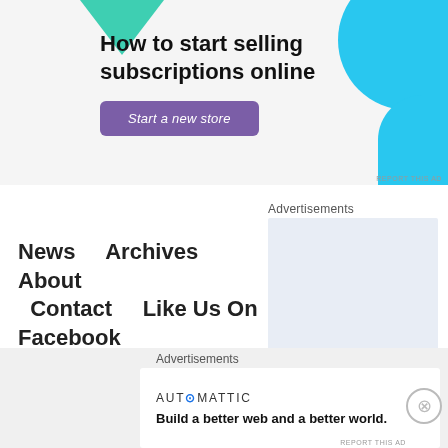[Figure (infographic): Advertisement banner with green triangle top-left, cyan circle and quarter-circle top-right, bold text 'How to start selling subscriptions online', purple button 'Start a new store', on light grey background]
REPORT THIS AD
Advertisements
News   Archives   About
  Contact   Like Us On
Facebook
[Figure (infographic): Light blue/grey advertisement placeholder box on the right side]
Brown County Crime Reporter, Blog at WordPress.com.
Advertisements
[Figure (infographic): Automattic advertisement: 'AUTOMATTIC' logo and tagline 'Build a better web and a better world.']
REPORT THIS AD